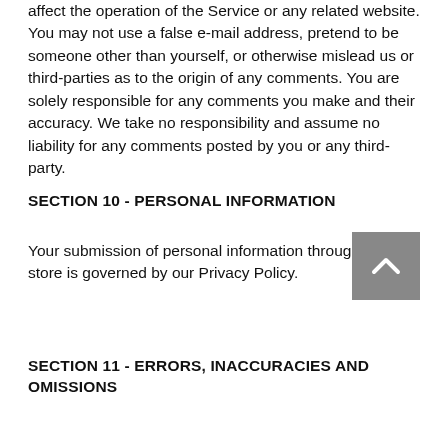affect the operation of the Service or any related website. You may not use a false e-mail address, pretend to be someone other than yourself, or otherwise mislead us or third-parties as to the origin of any comments. You are solely responsible for any comments you make and their accuracy. We take no responsibility and assume no liability for any comments posted by you or any third-party.
SECTION 10 - PERSONAL INFORMATION
Your submission of personal information through the store is governed by our Privacy Policy.
SECTION 11 - ERRORS, INACCURACIES AND OMISSIONS